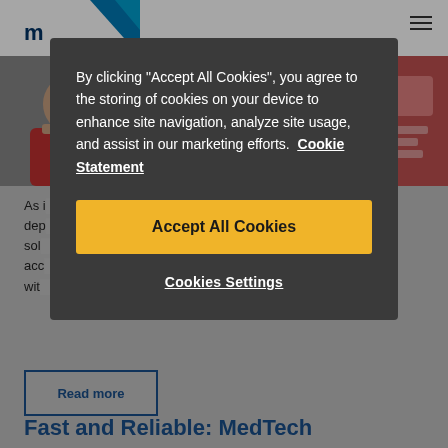m[edtech logo]
[Figure (screenshot): Article image strip with person on left and product/device on right with red background]
As i[...] ure dep[...] sol[...] en acc[...] up wit[...]
Read more
Fast and Reliable: MedTech
By clicking “Accept All Cookies”, you agree to the storing of cookies on your device to enhance site navigation, analyze site usage, and assist in our marketing efforts. Cookie Statement
Accept All Cookies
Cookies Settings